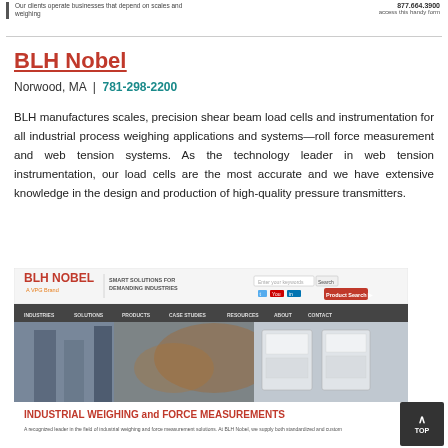Our clients operate businesses that depend on scales and weighing | 877.664.3900 | access this handy form
BLH Nobel
Norwood, MA  |  781-298-2200
BLH manufactures scales, precision shear beam load cells and instrumentation for all industrial process weighing applications and systems—roll force measurement and web tension systems. As the technology leader in web tension instrumentation, our load cells are the most accurate and we have extensive knowledge in the design and production of high-quality pressure transmitters.
[Figure (screenshot): Screenshot of BLH Nobel website showing header with logo 'BLH NOBEL A VPG Brand' and tagline 'SMART SOLUTIONS FOR DEMANDING INDUSTRIES', navigation menu with INDUSTRIES, SOLUTIONS, PRODUCTS, CASE STUDIES, RESOURCES, ABOUT, CONTACT, a hero image of industrial facility and equipment, and section heading 'INDUSTRIAL WEIGHING and FORCE MEASUREMENTS' with brief description text.]